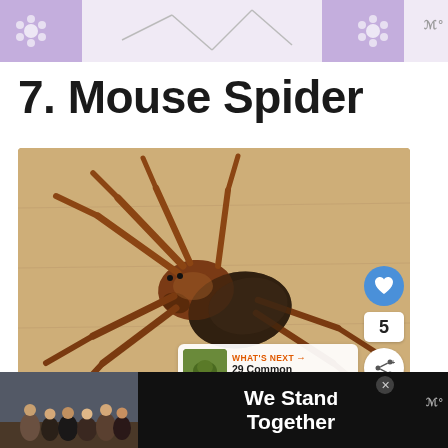Header banner with floral decoration and weather icon
7. Mouse Spider
[Figure (photo): Close-up photograph of a mouse spider (large brown and black spider) on a light wooden surface, viewed from above, showing all 8 legs spread out. UI overlay elements include a blue heart button with count 5 and a share button.]
[Figure (photo): WHAT'S NEXT overlay showing thumbnail of next article '29 Common Spiders In...']
[Figure (photo): Advertisement bar at bottom: group of people with 'We Stand Together' text and weather icon]